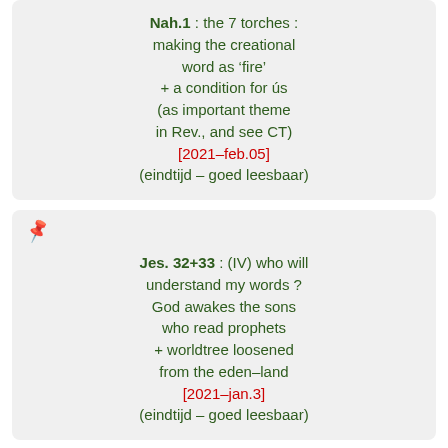Nah.1: the 7 torches: making the creational word as 'fire' + a condition for ús (as important theme in Rev., and see CT) [2021-feb.05] (eindtijd – goed leesbaar)
Jes. 32+33: (IV) who will understand my words? God awakes the sons who read prophets + worldtree loosened from the eden-land [2021-jan.3] (eindtijd – goed leesbaar)
(partial card with pin icon visible)